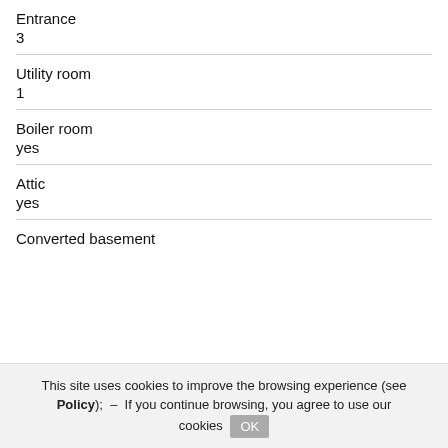Entrance
3
Utility room
1
Boiler room
yes
Attic
yes
Converted basement
This site uses cookies to improve the browsing experience (see Policy); – If you continue browsing, you agree to use our cookies OK